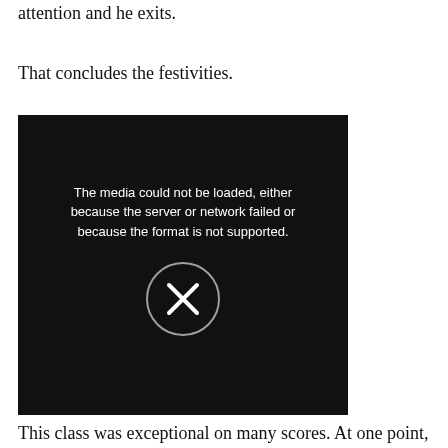attention and he exits.
That concludes the festivities.
[Figure (screenshot): A dark video player screenshot showing silhouetted figures in a dimly lit room. An error message overlay reads: 'The media could not be loaded, either because the server or network failed or because the format is not supported.' with an X icon inside a circle.]
This class was exceptional on many scores. At one point, LTC Khoda Daad was talking too much for one of two of